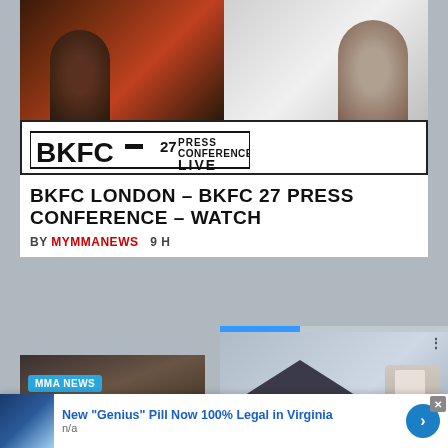[Figure (photo): BKFC 27 Press Conference live stream thumbnail showing two fighters with microphones and BKFC logo banner]
BKFC LONDON – BKFC 27 PRESS CONFERENCE – WATCH
BY MYMMANEWS  9 H
[Figure (photo): MMA News card with rooftop/brick texture image and MMA NEWS badge]
[Figure (photo): Ad overlay showing a house model with person signing documents, with arrow button and caption 'How to Start Your Own']
[Figure (photo): Bottom advertisement thumbnail with blue/teal glove image]
New "Genius" Pill Now 100% Legal in Virginia
n/a